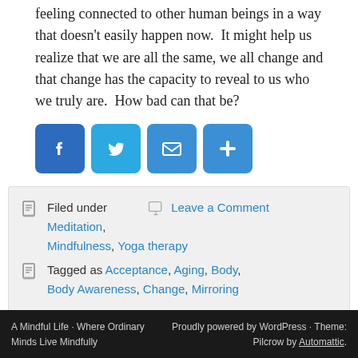feeling connected to other human beings in a way that doesn't easily happen now.  It might help us realize that we are all the same, we all change and that change has the capacity to reveal to us who we truly are.  How bad can that be?
[Figure (infographic): Social share buttons: Facebook (blue), Twitter (light blue), Email (blue), More/Plus (blue)]
Filed under  Leave a Comment Meditation, Mindfulness, Yoga therapy  Tagged as Acceptance, Aging, Body, Body Awareness, Change, Mirroring
A Mindful Life · Where Ordinary Minds Live Mindfully  Proudly powered by WordPress · Theme: Pilcrow by Automattic.